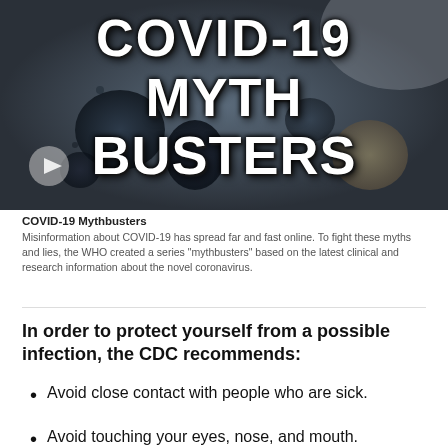[Figure (screenshot): Video thumbnail with microscope image of coronavirus particles and large bold white text reading COVID-19 MYTHBUSTERS with a play button overlay]
COVID-19 Mythbusters
Misinformation about COVID-19 has spread far and fast online. To fight these myths and lies, the WHO created a series "mythbusters" based on the latest clinical and research information about the novel coronavirus.
In order to protect yourself from a possible infection, the CDC recommends:
Avoid close contact with people who are sick.
Avoid touching your eyes, nose, and mouth.